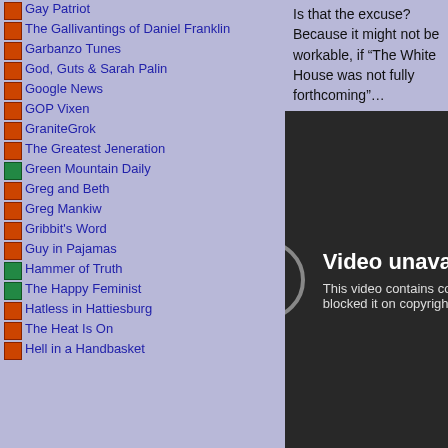Gay Patriot
The Gallivantings of Daniel Franklin
Garbanzo Tunes
God, Guts & Sarah Palin
Google News
GOP Vixen
GraniteGrok
The Greatest Jeneration
Green Mountain Daily
Greg and Beth
Greg Mankiw
Gribbit's Word
Guy in Pajamas
Hammer of Truth
The Happy Feminist
Hatless in Hattiesburg
The Heat Is On
Hell in a Handbasket
Is that the excuse? Because it might not be workable, if “The White House was not fully forthcoming”…
[Figure (screenshot): Video unavailable message on dark background. Text reads: 'Video unavailable' and 'This video contains con... blocked it on copyright g...' with a circular exclamation mark icon.]